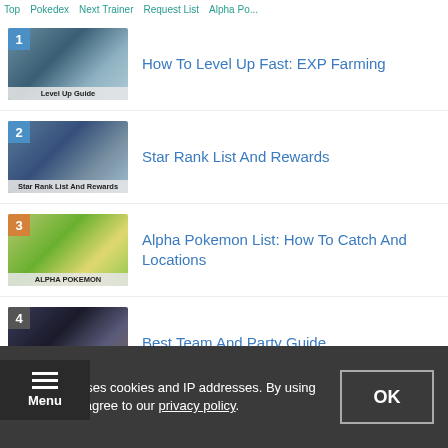Top | Pokedex | Next Trainer | Request List | Alpha Po...
How To Level Up Fast: EXP Farming
Star Rank List And Rewards
Alpha Pokemon List: How To Catch And Locations
Best Team And Party Guide
Togekiss: How To Get And Evolution
GameWith uses cookies and IP addresses. By using our site you agree to our privacy policy.